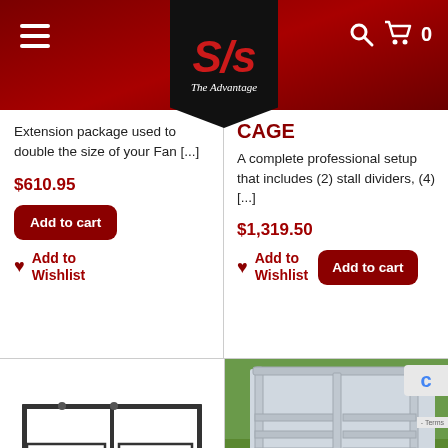S/s The Advantage — navigation header with hamburger menu, search, cart (0)
Extension package used to double the size of your Fan [...]
$610.95
Add to cart
Add to Wishlist
CAGE
A complete professional setup that includes (2) stall dividers, (4) [...]
$1,319.50
Add to cart
Add to Wishlist
[Figure (illustration): Black metal stall divider frame product illustration showing two panel sections with horizontal rails]
[Figure (photo): Photo of silver/galvanized metal livestock panel or stall divider on green grass background]